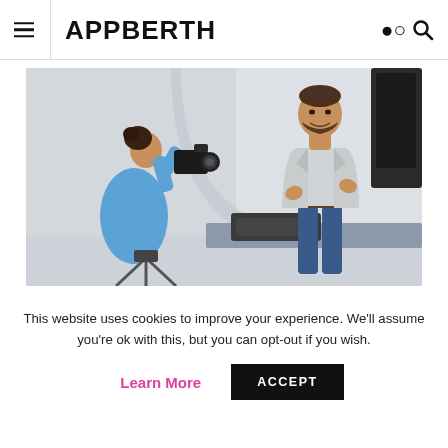APPBERTH
[Figure (photo): A photographer (woman in blue shirt, back to camera) photographing a male model (in grey blazer and jeans) in a photography studio with softbox lighting equipment]
This website uses cookies to improve your experience. We'll assume you're ok with this, but you can opt-out if you wish.
Learn More   ACCEPT